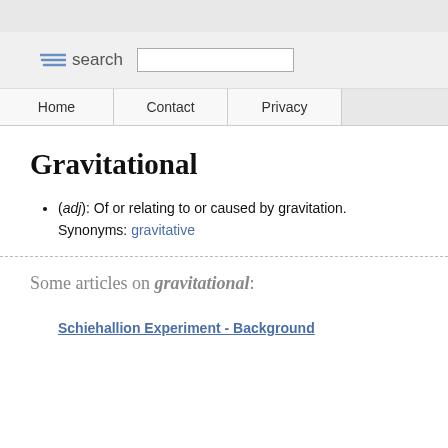Gravitational
(adj): Of or relating to or caused by gravitation.
Synonyms: gravitative
Some articles on gravitational:
Schiehallion Experiment - Background